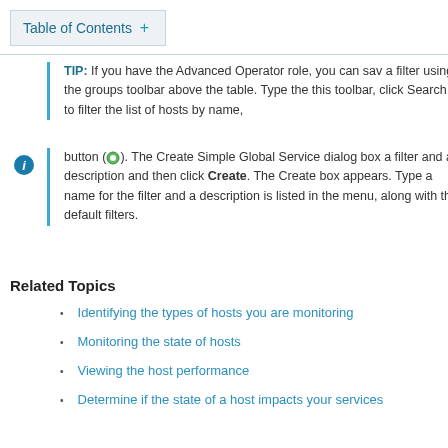Table of Contents +
TIP: If you have the Advanced Operator role, you can save a filter using the groups toolbar above the table. Type the this toolbar, click Search to filter the list of hosts by name, button (●). The Create Simple Global Service dialog box a filter and a description and then click Create. The Create box appears. Type a name for the filter and a description is listed in the menu, along with the default filters.
Related Topics
Identifying the types of hosts you are monitoring
Monitoring the state of hosts
Viewing the host performance
Determine if the state of a host impacts your services